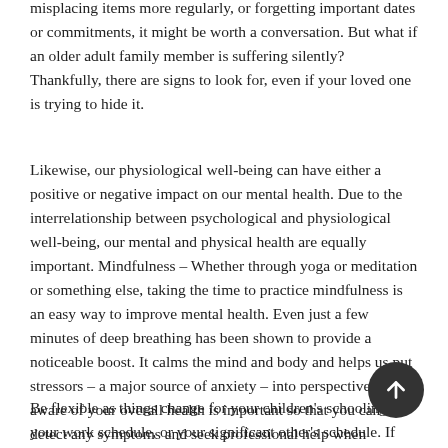misplacing items more regularly, or forgetting important dates or commitments, it might be worth a conversation. But what if an older adult family member is suffering silently? Thankfully, there are signs to look for, even if your loved one is trying to hide it.
Likewise, our physiological well-being can have either a positive or negative impact on our mental health. Due to the interrelationship between psychological and physiological well-being, our mental and physical health are equally important. Mindfulness – Whether through yoga or meditation or something else, taking the time to practice mindfulness is an easy way to improve mental health. Even just a few minutes of deep breathing has been shown to provide a noticeable boost. It calms the mind and body and helps us put stressors – a major source of anxiety – into perspective. Being aware of your overall health is important so that you can detect any symptoms and seek professional help when necessary.
Be flexible as things change for your children's schooling, your work schedule, or your significant other's schedule. If